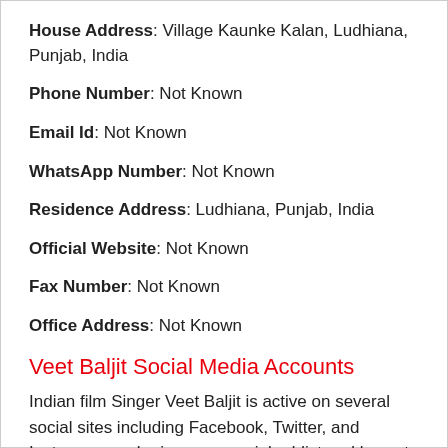House Address: Village Kaunke Kalan, Ludhiana, Punjab, India
Phone Number: Not Known
Email Id: Not Known
WhatsApp Number: Not Known
Residence Address: Ludhiana, Punjab, India
Official Website: Not Known
Fax Number: Not Known
Office Address: Not Known
Veet Baljit Social Media Accounts
Indian film Singer Veet Baljit is active on several social sites including Facebook, Twitter, and Instagram, as he is a very social addict and loves to interact with his fans. We shared his verified social media profile links, which can help you to